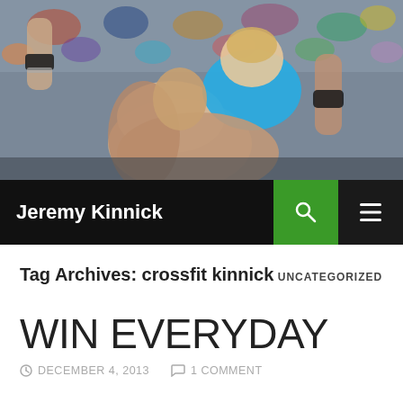[Figure (photo): Sports photo of two athletes, one carrying the other on their back, with a crowd in the background. Both appear to be CrossFit competitors.]
Jeremy Kinnick
Tag Archives: crossfit kinnick
UNCATEGORIZED
WIN EVERYDAY
DECEMBER 4, 2013  1 COMMENT